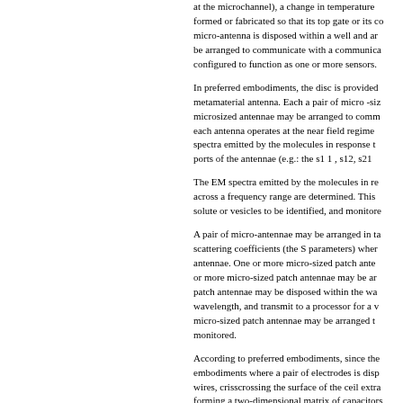at the microchannel), a change in temperature formed or fabricated so that its top gate or its co micro-antenna is disposed within a well and ar be arranged to communicate with a communica configured to function as one or more sensors.
In preferred embodiments, the disc is provided metamaterial antenna. Each a pair of micro -siz microsized antennae may be arranged to comm each antenna operates at the near field regime spectra emitted by the molecules in response t ports of the antennae (e.g.: the s1 1 , s12, s21
The EM spectra emitted by the molecules in re across a frequency range are determined. This solute or vesicles to be identified, and monitore
A pair of micro-antennae may be arranged in ta scattering coefficients (the S parameters) wher antennae. One or more micro-sized patch ante or more micro-sized patch antennae may be ar patch antennae may be disposed within the wa wavelength, and transmit to a processor for a v micro-sized patch antennae may be arranged t monitored.
According to preferred embodiments, since the embodiments where a pair of electrodes is disp wires, crisscrossing the surface of the ceil extra forming a two-dimensional matrix of capacitors
Preferably, the first module (disc) is configured plate, oven, cell incubator, multispectral camera